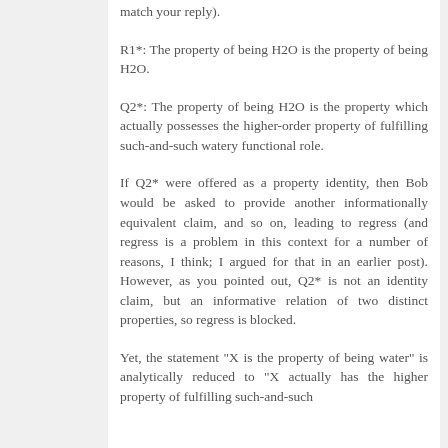match your reply).
R1*: The property of being H2O is the property of being H2O.
Q2*: The property of being H2O is the property which actually possesses the higher-order property of fulfilling such-and-such watery functional role.
If Q2* were offered as a property identity, then Bob would be asked to provide another informationally equivalent claim, and so on, leading to regress (and regress is a problem in this context for a number of reasons, I think; I argued for that in an earlier post). However, as you pointed out, Q2* is not an identity claim, but an informative relation of two distinct properties, so regress is blocked.
Yet, the statement "X is the property of being water" is analytically reduced to "X actually has the higher property of fulfilling such-and-such